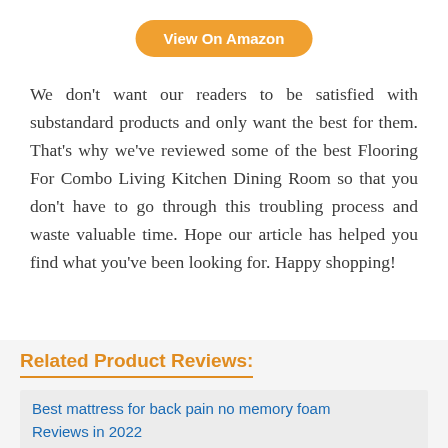[Figure (other): Orange rounded button labeled 'View On Amazon']
We don't want our readers to be satisfied with substandard products and only want the best for them. That's why we've reviewed some of the best Flooring For Combo Living Kitchen Dining Room so that you don't have to go through this troubling process and waste valuable time. Hope our article has helped you find what you've been looking for. Happy shopping!
Related Product Reviews:
Best mattress for back pain no memory foam Reviews in 2022